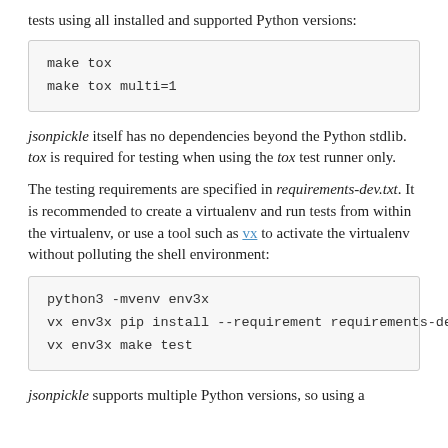tests using all installed and supported Python versions:
make tox
make tox multi=1
jsonpickle itself has no dependencies beyond the Python stdlib. tox is required for testing when using the tox test runner only.
The testing requirements are specified in requirements-dev.txt. It is recommended to create a virtualenv and run tests from within the virtualenv, or use a tool such as vx to activate the virtualenv without polluting the shell environment:
python3 -mvenv env3x
vx env3x pip install --requirement requirements-de
vx env3x make test
jsonpickle supports multiple Python versions, so using a